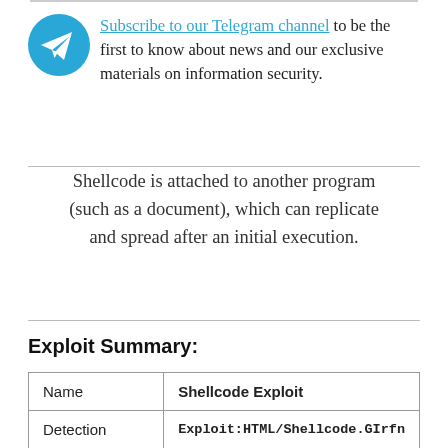Subscribe to our Telegram channel to be the first to know about news and our exclusive materials on information security.
Shellcode is attached to another program (such as a document), which can replicate and spread after an initial execution.
Exploit Summary:
| Name | Shellcode Exploit |
| Detection | Exploit:HTML/Shellcode.GIrfn |